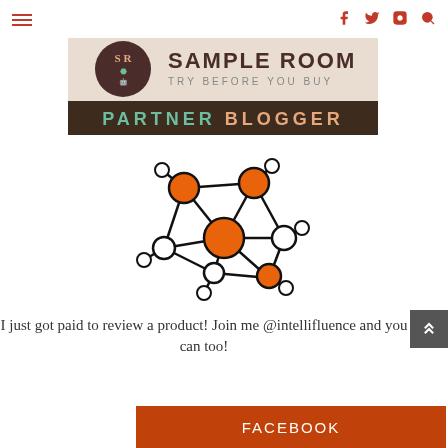Navigation bar with hamburger menu, facebook, twitter, instagram, search icons
[Figure (logo): Sample Room 'Try Before You Buy' Partner Blogger banner with logo]
[Figure (illustration): Network graph illustration with orange and white circles connected by lines, representing influencer network]
I just got paid to review a product! Join me @intellifluence and you can too!
[Figure (other): Facebook button - orange rectangle with FACEBOOK text in white]